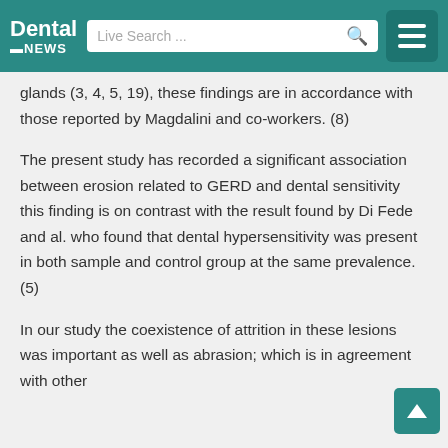Dental News — Live Search — Menu
glands (3, 4, 5, 19), these findings are in accordance with those reported by Magdalini and co-workers. (8)
The present study has recorded a significant association between erosion related to GERD and dental sensitivity this finding is on contrast with the result found by Di Fede and al. who found that dental hypersensitivity was present in both sample and control group at the same prevalence. (5)
In our study the coexistence of attrition in these lesions was important as well as abrasion; which is in agreement with other